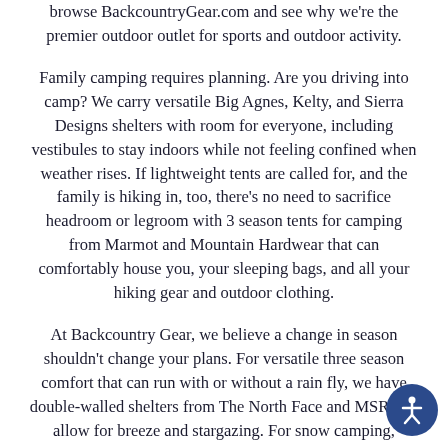browse BackcountryGear.com and see why we're the premier outdoor outlet for sports and outdoor activity.
Family camping requires planning. Are you driving into camp? We carry versatile Big Agnes, Kelty, and Sierra Designs shelters with room for everyone, including vestibules to stay indoors while not feeling confined when weather rises. If lightweight tents are called for, and the family is hiking in, too, there's no need to sacrifice headroom or legroom with 3 season tents for camping from Marmot and Mountain Hardwear that can comfortably house you, your sleeping bags, and all your hiking gear and outdoor clothing.
At Backcountry Gear, we believe a change in season shouldn't change your plans. For versatile three season comfort that can run with or without a rain fly, we have double-walled shelters from The North Face and MSR that allow for breeze and stargazing. For snow camping, Hilleberg is one of our trusted partners for single-walled security, engineered with some of the best materials